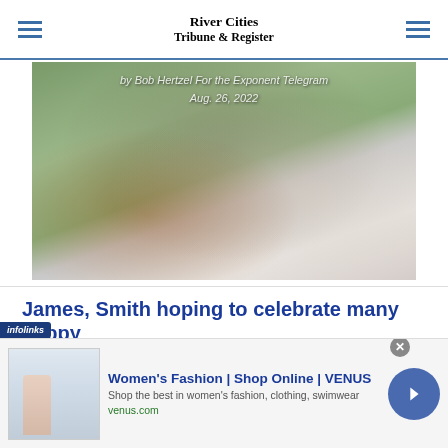River Cities Tribune & Register
[Figure (photo): Football action photo showing two players, one reaching/tackling the other who carries the ball. Overlaid text reads 'by Bob Hertzel For the Exponent Telegram' and 'Aug. 26, 2022']
James, Smith hoping to celebrate many happy
This website uses cookies to enhance user experience to analyze performance and traffic on our website.
[Figure (screenshot): Advertisement banner for Women's Fashion | Shop Online | VENUS. Shows thumbnail of fashion website, text 'Shop the best in women's fashion, clothing, swimwear', URL 'venus.com', infolinks badge, close button, and navigation arrow.]